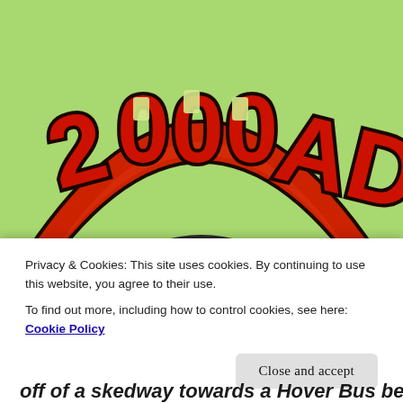[Figure (logo): 2000AD featuring Judge Dredd logo — large red 3D block lettering arched on a light green background with rainbow arc underneath]
2000AD Prog 315: "Look, mummy... the judge is going to miss his bus!"
Privacy & Cookies: This site uses cookies. By continuing to use this website, you agree to their use.
To find out more, including how to control cookies, see here: Cookie Policy
off of a skedway towards a Hover Bus below. This is